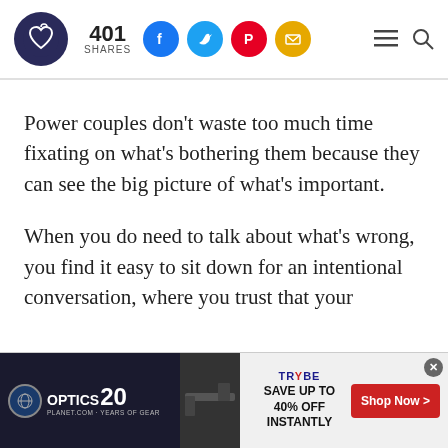401 SHARES — social sharing header with Facebook, Twitter, Pinterest, Email icons, hamburger menu, and search icon
Power couples don’t waste too much time fixating on what’s bothering them because they can see the big picture of what’s important.
When you do need to talk about what’s wrong, you find it easy to sit down for an intentional conversation, where you trust that your
[Figure (other): Advertisement banner for Optics Planet showing rifle image with Trybe Defense branding, 'SAVE UP TO 40% OFF INSTANTLY', and 'Shop Now >' red button]